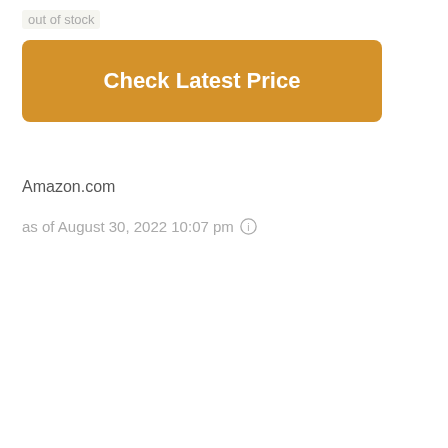out of stock
[Figure (other): Orange button labeled 'Check Latest Price']
Amazon.com
as of August 30, 2022 10:07 pm ⓘ